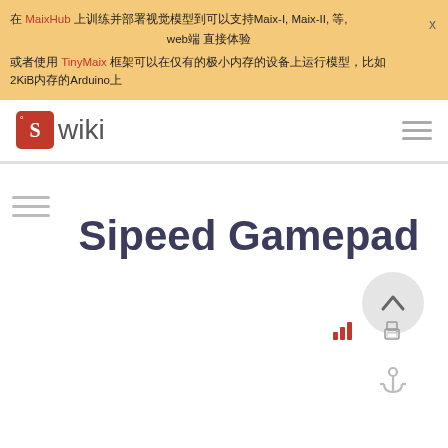在 MaixHub 上训练并部署视觉模型到可以支持Maix-I, Maix-II, 等, web端 直接体验
或者使用 TinyMaix 框架可以在仅有的极小内存的设备上运行模型，比如2KiB内存的Arduino上
[Figure (logo): Sipeed S wiki logo with red S icon and wiki text]
Sipeed Gamepad